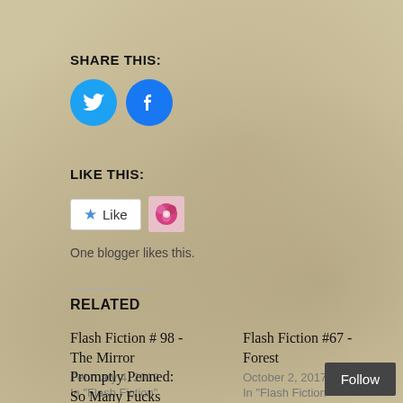SHARE THIS:
[Figure (infographic): Twitter and Facebook social sharing icon buttons (blue circles with white bird and 'f' logos)]
LIKE THIS:
[Figure (infographic): WordPress Like button widget with star icon and a blogger avatar (flower image)]
One blogger likes this.
RELATED
Flash Fiction # 98 - The Mirror
February 4, 2019
In "Flash Fiction"
Flash Fiction #67 - Forest
October 2, 2017
In "Flash Fiction"
Promptly Penned:
So Many Fucks